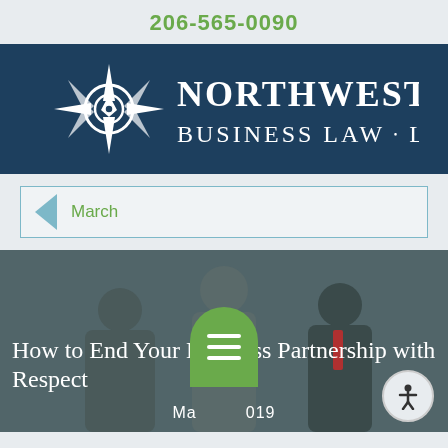206-565-0090
[Figure (logo): Northwest Business Law LLC logo — compass star icon in white on dark navy background with firm name text]
March
[Figure (photo): Three businessmen in discussion, overlaid with article title 'How to End Your Business Partnership with Respect' and date 'March 2019']
How to End Your Business Partnership with Respect
March 2019